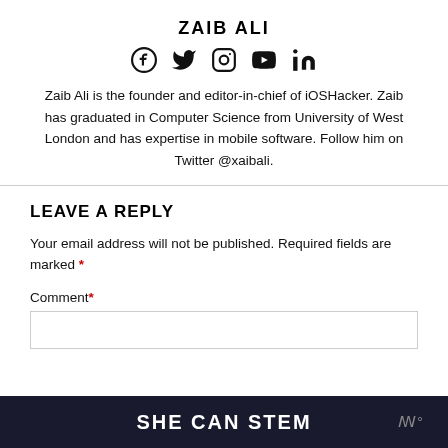ZAIB ALI
[Figure (infographic): Social media icons: Facebook, Twitter, Instagram, YouTube, LinkedIn]
Zaib Ali is the founder and editor-in-chief of iOSHacker. Zaib has graduated in Computer Science from University of West London and has expertise in mobile software. Follow him on Twitter @xaibali.
LEAVE A REPLY
Your email address will not be published. Required fields are marked *
Comment *
SHE CAN STEM